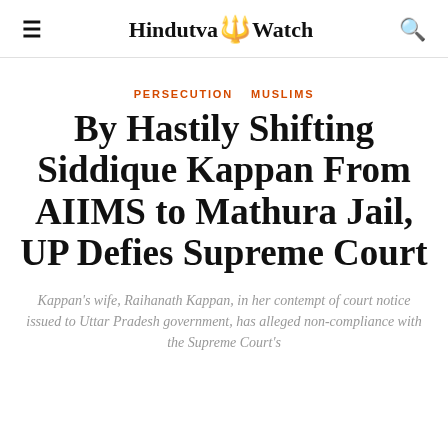Hindutva Watch
PERSECUTION   MUSLIMS
By Hastily Shifting Siddique Kappan From AIIMS to Mathura Jail, UP Defies Supreme Court
Kappan's wife, Raihanath Kappan, in her contempt of court notice issued to Uttar Pradesh government, has alleged non-compliance with the Supreme Court's